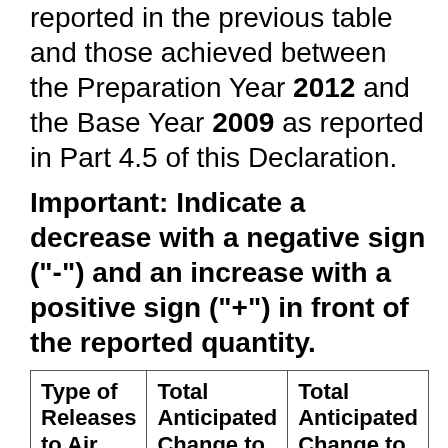Year 2009, include both the changes reported in the previous table and those achieved between the Preparation Year 2012 and the Base Year 2009 as reported in Part 4.5 of this Declaration.
Important: Indicate a decrease with a negative sign ("-") and an increase with a positive sign ("+") in front of the reported quantity.
| Type of Releases to Air | Total Anticipated Change to On-site Releases of | Total Anticipated Change to On-site Releases of |
| --- | --- | --- |